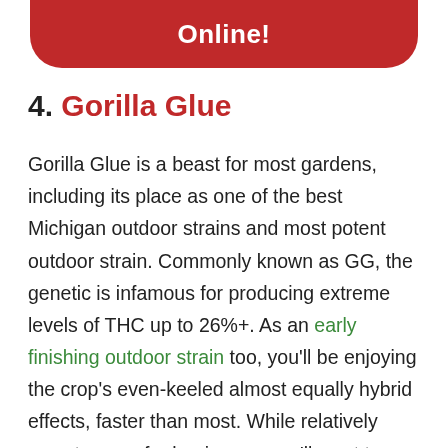Online!
4. Gorilla Glue
Gorilla Glue is a beast for most gardens, including its place as one of the best Michigan outdoor strains and most potent outdoor strain. Commonly known as GG, the genetic is infamous for producing extreme levels of THC up to 26%+. As an early finishing outdoor strain too, you'll be enjoying the crop's even-keeled almost equally hybrid effects, faster than most. While relatively easy to grow for beginners, you'll want to time Gorilla Glue in Michigan appropriately to miss any times of frost, and top often to contain